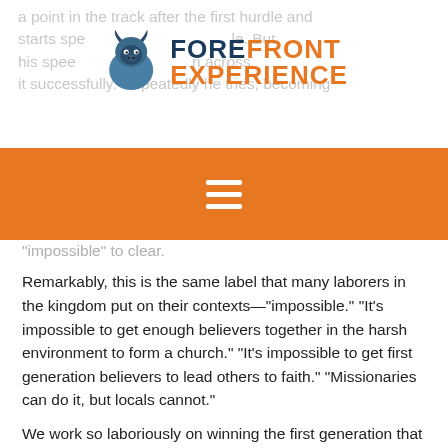a point in the track after the first hurdle and starts spe... But his speed... across it successfully. Repeatedly he tries, becoming
[Figure (logo): Forefront Experience logo with bison mascot icon, dark navy and orange text]
[Figure (other): Orange navigation bar with white hamburger menu icon]
"impossible" to clear.
Remarkably, this is the same label that many laborers in the kingdom put on their contexts—"impossible." "It's impossible to get enough believers together in the harsh environment to form a church." "It's impossible to get first generation believers to lead others to faith." "Missionaries can do it, but locals cannot."
We work so laboriously on winning the first generation that when we finally get them, we camp out and focus only on their spiritual health, not helping them boldly win another generation